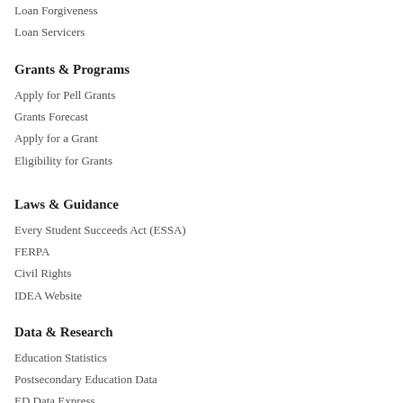Loan Forgiveness
Loan Servicers
Grants & Programs
Apply for Pell Grants
Grants Forecast
Apply for a Grant
Eligibility for Grants
Laws & Guidance
Every Student Succeeds Act (ESSA)
FERPA
Civil Rights
IDEA Website
Data & Research
Education Statistics
Postsecondary Education Data
ED Data Express
Nation's Report Card